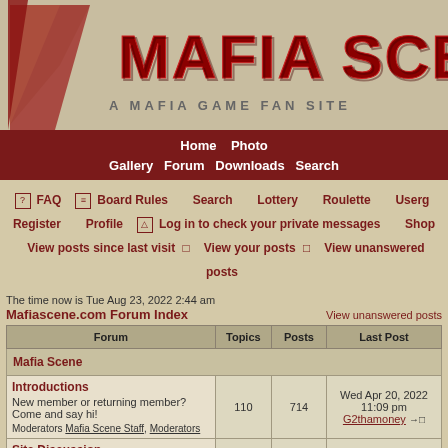[Figure (logo): Mafia Scene logo banner - red metallic text reading 'MAFIA SCENE' with subtitle 'A MAFIA GAME FAN SITE' on a tan/beige background with a red and gold angular design on the left]
Home  Photo Gallery  Forum  Downloads  Search
FAQ  Board Rules  Search  Lottery  Roulette  Usergr... Register  Profile  Log in to check your private messages  Shop  View posts since last visit  View your posts  View unanswered posts
The time now is Tue Aug 23, 2022 2:44 am
Mafiascene.com Forum Index
| Forum | Topics | Posts | Last Post |
| --- | --- | --- | --- |
| Mafia Scene |  |  |  |
| Introductions
New member or returning member? Come and say hi!
Moderators Mafia Scene Staff, Moderators | 110 | 714 | Wed Apr 20, 2022 11:09 pm
G2thamoney |
| Site Discussion
Comments, suggestions or technical issues regarding this site.
Moderators Mafia Scene Staff | 26 | 124 | Sat Sep 18, 2021 3:35 am
Hunter |